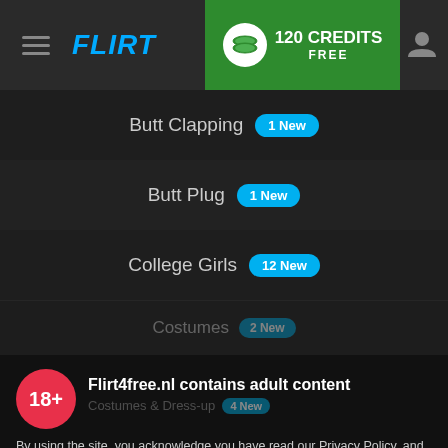FLIRT — 120 CREDITS FREE
Butt Clapping — 1 New
Butt Plug — 1 New
College Girls — 12 New
Costumes — 2 New
Costumes & Dress-up — 4 New
Couples — 33 New
Cuckolding — 9 New
Curvy — New
Flirt4free.nl contains adult content
By using the site, you acknowledge you have read our Privacy Policy, and agree to our Terms and Conditions.
We use cookies to optimize your experience, analyze traffic, and deliver more personalized service. To learn more, please see our Privacy Policy.
I AGREE